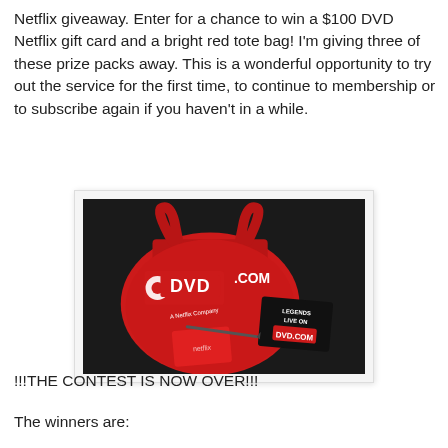Netflix giveaway. Enter for a chance to win a $100 DVD Netflix gift card and a bright red tote bag! I'm giving three of these prize packs away. This is a wonderful opportunity to try out the service for the first time, to continue to membership or to subscribe again if you haven't in a while.
[Figure (photo): A bright red tote bag with DVD.COM logo and a Netflix gift card on a dark background]
!!!THE CONTEST IS NOW OVER!!!
The winners are: